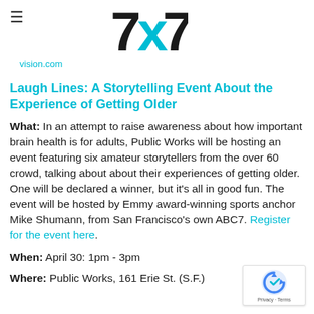7x7 | vision.com
Laugh Lines: A Storytelling Event About the Experience of Getting Older
What: In an attempt to raise awareness about how important brain health is for adults, Public Works will be hosting an event featuring six amateur storytellers from the over 60 crowd, talking about about their experiences of getting older. One will be declared a winner, but it's all in good fun. The event will be hosted by Emmy award-winning sports anchor Mike Shumann, from San Francisco's own ABC7. Register for the event here.
When: April 30: 1pm - 3pm
Where: Public Works, 161 Erie St. (S.F.)